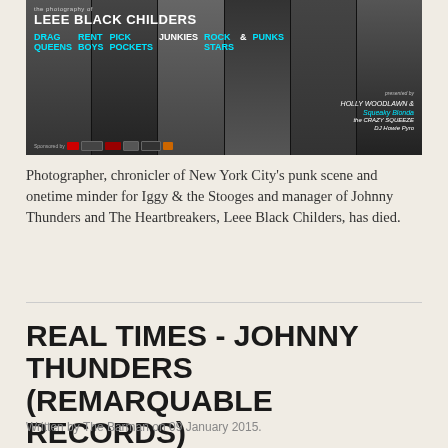[Figure (photo): Promotional banner for an exhibition of photography by Leee Black Childers, showing black and white portraits of multiple people. Text reads: 'the photography of LEEE BLACK CHILDERS' with cyan colored words: DRAG QUEENS, RENT BOYS, PICK POCKETS, JUNKIES, ROCK STARS, & PUNKS. Sponsored by various organizations. Presented by HOLLY WOODLAWN, Squeaky Blonda, the CRAZY SQUEEZE, DJ Howie Pyro.]
Photographer, chronicler of New York City's punk scene and onetime minder for Iggy & the Stooges and manager of Johnny Thunders and The Heartbreakers, Leee Black Childers, has died.
REAL TIMES - JOHNNY THUNDERS (REMARQUABLE RECORDS)
Written by The Barman on 09 January 2015.